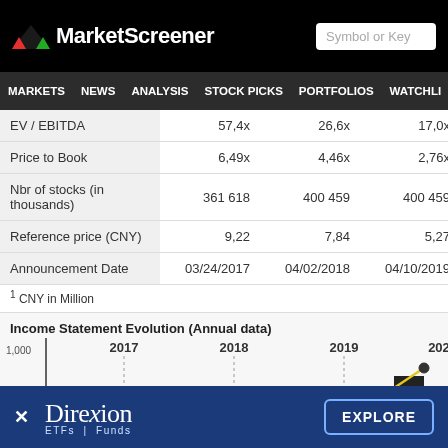MarketScreener
MARKETS NEWS ANALYSIS STOCK PICKS PORTFOLIOS WATCHLI
|  | Col1 | Col2 | Col3 | Col4 |
| --- | --- | --- | --- | --- |
| EV / EBITDA | 57,4x | 26,6x | 17,0x |  |
| Price to Book | 6,49x | 4,46x | 2,76x |  |
| Nbr of stocks (in thousands) | 361 618 | 400 459 | 400 459 | 4 |
| Reference price (CNY) | 9,22 | 7,84 | 5,27 |  |
| Announcement Date | 03/24/2017 | 04/02/2018 | 04/10/2019 | 04/0 |
1 CNY in Million
Income Statement Evolution (Annual data)
[Figure (line-chart): Line chart showing income statement evolution from 2017 to 2020+, y-axis shows values around 800-1000, partially visible with a rising line toward 2020]
Direxion ETFs | Funds — EXPLORE